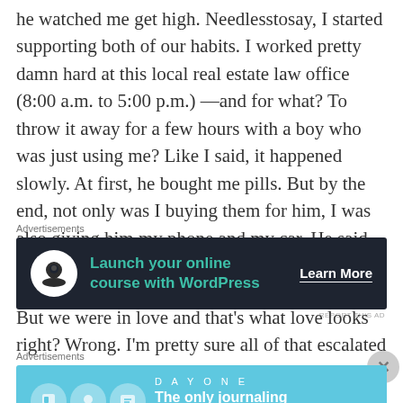he watched me get high. Needlesstosay, I started supporting both of our habits. I worked pretty damn hard at this local real estate law office (8:00 a.m. to 5:00 p.m.) —and for what? To throw it away for a few hours with a boy who was just using me? Like I said, it happened slowly. At first, he bought me pills. But by the end, not only was I buying them for him, I was also giving him my phone and my car. He said he needed it. He didn't.
[Figure (screenshot): Dark advertisement banner: 'Launch your online course with WordPress' with Learn More button]
But we were in love and that's what love looks right? Wrong. I'm pretty sure all of that escalated the inevitable because once the money ran out, which happened quicker than I'd
[Figure (screenshot): Light blue advertisement banner for Day One journaling app: 'The only journaling app you'll ever need.']